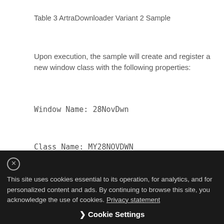Table 3 ArtraDownloader Variant 2 Sample
Upon execution, the sample will create and register a new window class with the following properties:
Window Name: 28NovDwn
Class Name: MY28NOVDWN
The malware proceeds to decode a series of strings using a simple routine. The following Python script may be used to decode strings belonging to this cluster:
def decode(data):
This site uses cookies essential to its operation, for analytics, and for personalized content and ads. By continuing to browse this site, you acknowledge the use of cookies. Privacy statement
Cookie Settings